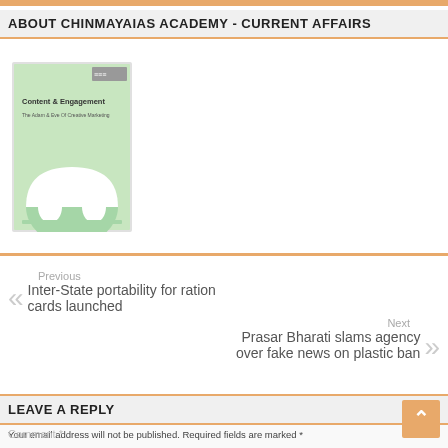ABOUT CHINMAYAIAS ACADEMY - CURRENT AFFAIRS
[Figure (illustration): Book cover image: Content & Engagement - The Adam & Eve Of Creative Marketing, with a green cover showing two rabbit-like figures under an arch]
Previous
Inter-State portability for ration cards launched
Next
Prasar Bharati slams agency over fake news on plastic ban
LEAVE A REPLY
Your email address will not be published. Required fields are marked *
Comment *